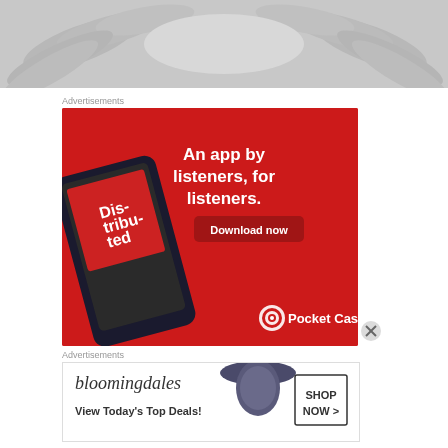[Figure (photo): Grayscale banner image showing hands/fingers against a light background]
Advertisements
[Figure (screenshot): Pocket Casts advertisement on red background. Shows a smartphone displaying a podcast episode called 'Distributed'. Text reads: 'An app by listeners, for listeners.' with a 'Download now' button and Pocket Casts logo at bottom right.]
Advertisements
[Figure (screenshot): Bloomingdale's advertisement. Shows 'bloomingdales' logo, text 'View Today's Top Deals!' with a woman wearing a large hat, and a 'SHOP NOW >' button.]